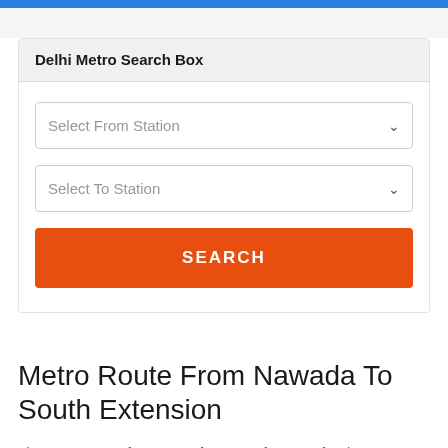Delhi Metro Search Box
[Figure (screenshot): Delhi Metro Search Box widget with two dropdown fields (Select From Station, Select To Station) and an orange SEARCH button]
Metro Route From Nawada To South Extension
The Metro Route from Nawada to South Extension has 18